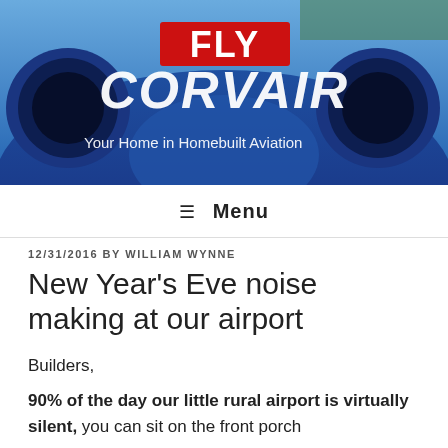[Figure (photo): Header photo of a blue experimental aircraft front view with twin engine intakes, overlaid with FLY CORVAIR logo text and tagline 'Your Home in Homebuilt Aviation']
≡ Menu
12/31/2016 BY WILLIAM WYNNE
New Year's Eve noise making at our airport
Builders,
90% of the day our little rural airport is virtually silent, you can sit on the front porch